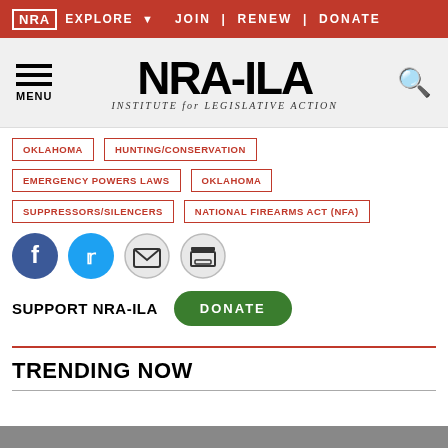NRA EXPLORE  JOIN | RENEW | DONATE
[Figure (logo): NRA-ILA Institute for Legislative Action logo with menu icon and search icon]
OKLAHOMA
HUNTING/CONSERVATION
EMERGENCY POWERS LAWS
OKLAHOMA
SUPPRESSORS/SILENCERS
NATIONAL FIREARMS ACT (NFA)
[Figure (infographic): Social sharing icons: Facebook, Twitter, Email, Print]
SUPPORT NRA-ILA   DONATE
TRENDING NOW